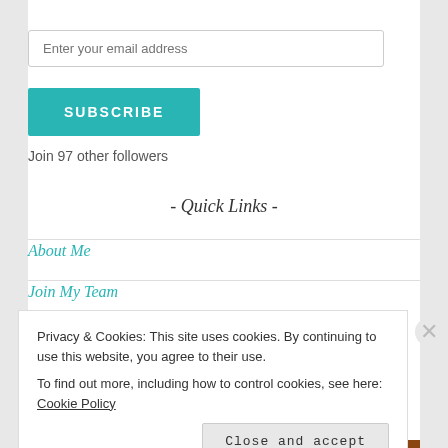Enter your email address
SUBSCRIBE
Join 97 other followers
- Quick Links -
About Me
Join My Team
Privacy & Cookies: This site uses cookies. By continuing to use this website, you agree to their use. To find out more, including how to control cookies, see here: Cookie Policy
Close and accept
AIRPORT-THE.RG